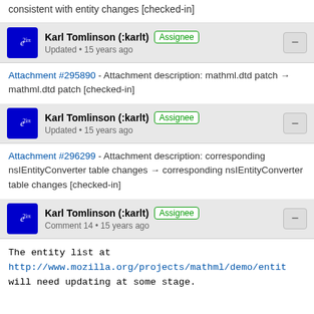consistent with entity changes [checked-in]
Karl Tomlinson (:karlt) Assignee Updated • 15 years ago
Attachment #295890 - Attachment description: mathml.dtd patch → mathml.dtd patch [checked-in]
Karl Tomlinson (:karlt) Assignee Updated • 15 years ago
Attachment #296299 - Attachment description: corresponding nsIEntityConverter table changes → corresponding nsIEntityConverter table changes [checked-in]
Karl Tomlinson (:karlt) Assignee Comment 14 • 15 years ago
The entity list at http://www.mozilla.org/projects/mathml/demo/entit will need updating at some stage.